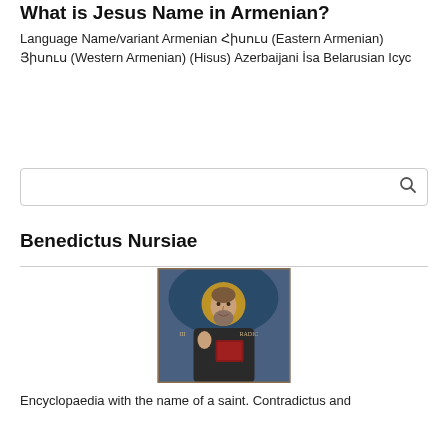What is Jesus Name in Armenian?
Language Name/variant Armenian Հիսուս (Eastern Armenian) Յիսուս (Western Armenian) (Hisus) Azerbaijani İsa Belarusian Ісус
[Figure (screenshot): Search box with magnifying glass icon]
Benedictus Nursiae
[Figure (photo): Medieval fresco painting of a bearded saint with a halo, wearing dark robes, holding a book, with text 'III' and 'RADIC' visible]
Encyclopaedia with the name of a saint. Contradictus and